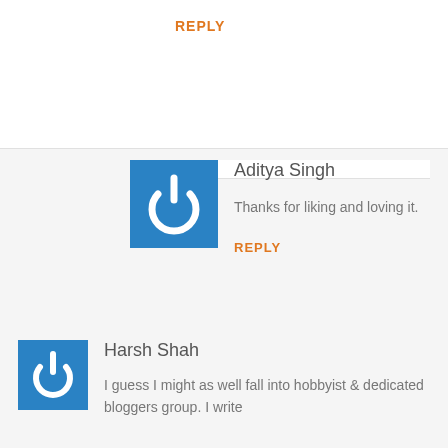REPLY
[Figure (logo): Blue square avatar with white power button icon for Aditya Singh]
Aditya Singh
Thanks for liking and loving it.
REPLY
[Figure (logo): Blue square avatar with white power button icon for Harsh Shah]
Harsh Shah
I guess I might as well fall into hobbyist & dedicated bloggers group. I write